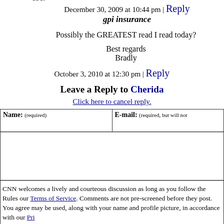December 30, 2009 at 10:44 pm | Reply
151. gpi insurance
Possibly the GREATEST read I read today?
Best regards
Bradly
October 3, 2010 at 12:30 pm | Reply
Leave a Reply to Cherida
Click here to cancel reply.
Name: (required)   E-mail: (required, but will not
CNN welcomes a lively and courteous discussion as long as you follow the Rules our Terms of Service. Comments are not pre-screened before they post. You agree may be used, along with your name and profile picture, in accordance with our Pri license you have granted pursuant to our Terms of Service